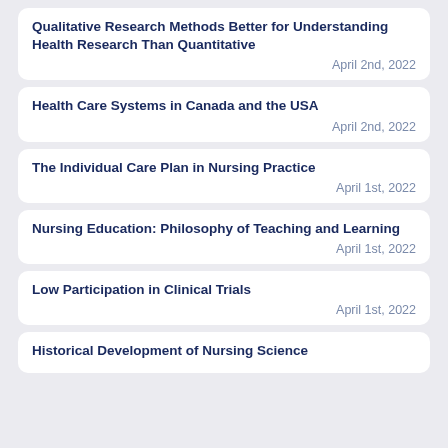Qualitative Research Methods Better for Understanding Health Research Than Quantitative
April 2nd, 2022
Health Care Systems in Canada and the USA
April 2nd, 2022
The Individual Care Plan in Nursing Practice
April 1st, 2022
Nursing Education: Philosophy of Teaching and Learning
April 1st, 2022
Low Participation in Clinical Trials
April 1st, 2022
Historical Development of Nursing Science